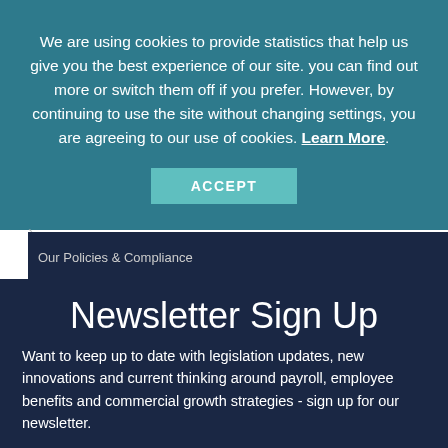We are using cookies to provide statistics that help us give you the best experience of our site. you can find out more or switch them off if you prefer. However, by continuing to use the site without changing settings, you are agreeing to our use of cookies. Learn More.
ACCEPT
Our Policies & Compliance
Newsletter Sign Up
Want to keep up to date with legislation updates, new innovations and current thinking around payroll, employee benefits and commercial growth strategies - sign up for our newsletter.